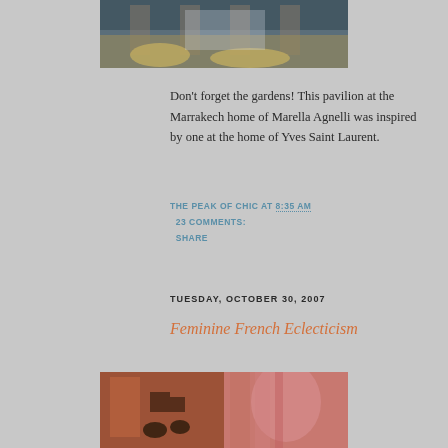[Figure (photo): Partial view of a garden pavilion with columns and golden foliage, at the Marrakech home of Marella Agnelli]
Don't forget the gardens! This pavilion at the Marrakech home of Marella Agnelli was inspired by one at the home of Yves Saint Laurent.
THE PEAK OF CHIC AT 8:35 AM 23 COMMENTS: SHARE
TUESDAY, OCTOBER 30, 2007
Feminine French Eclecticism
[Figure (photo): Two side-by-side interior photos showing richly decorated rooms with warm red and pink tones, floral fabrics, and decorative objects]